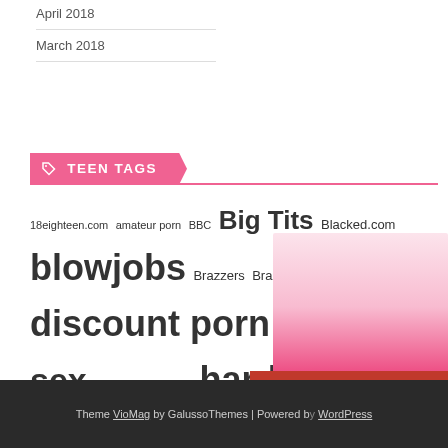April 2018
March 2018
TEEN TAGS
18eighteen.com amateur porn BBC Big Tits Blacked.com blowjobs Brazzers Brazzers.com discount porn discount sex exotic exotic babes hardcore porn hardcore sex interracial sex lesbian porn lesbian sex nubiles-porn discount Porn Discount porn discount porn network reality porn teak skeet discount team skeet teen porn teen pussy teen sex teen sex vids teens love money throatgames xxx videos
Theme VioMag by GalussoThemes | Powered by WordPress